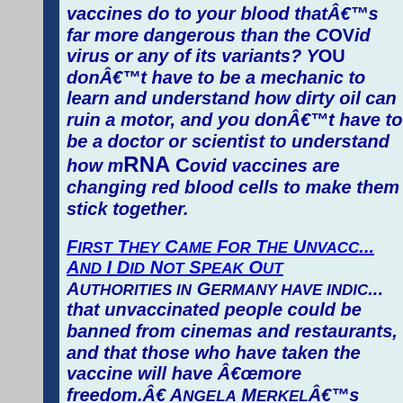vaccines do to your blood thatâ€™s far more dangerous than the Covid virus or any of its variants? You donâ€™t have to be a mechanic to learn and understand how dirty oil can ruin a motor, and you donâ€™t have to be a doctor or scientist to understand how mRNA Covid vaccines are changing red blood cells to make them stick together.
First They Came For The Unvaccinated And I Did Not Speak Out
Authorities in Germany have indicated that unvaccinated people could be banned from cinemas and restaurants, and that those who have taken the vaccine will have â€œmore freedom.â€ Angela Merkelâ€™s chief of staff Helge...